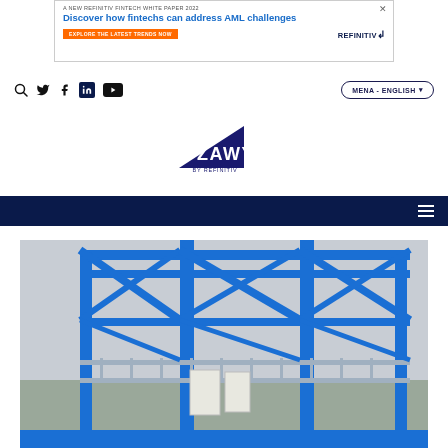[Figure (screenshot): Refinitiv Fintech White Paper 2022 banner ad — 'Discover how fintechs can address AML challenges' with orange CTA button and Refinitiv logo]
[Figure (screenshot): Navigation bar with search icon, Twitter, Facebook, LinkedIn, YouTube icons on left; MENA - ENGLISH dropdown button on right]
[Figure (logo): Zawya by Refinitiv logo — dark navy triangle with ZAWYA text and 'BY REFINITIV' below]
[Figure (screenshot): Dark navy horizontal navigation strip with hamburger menu icon on right]
[Figure (photo): Industrial photo of blue steel truss structure / bridge framework with metal railings and white HVAC or utility boxes below, overcast sky in background]